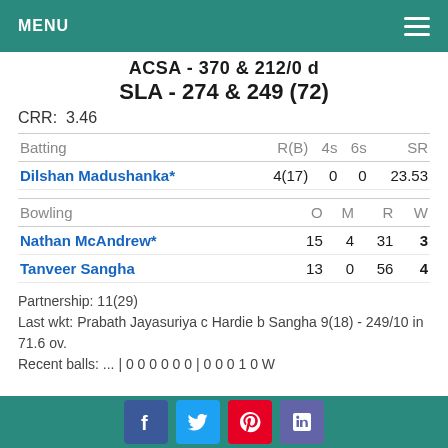MENU
ACSA - 370 & 212/0 d
SLA - 274 & 249 (72)
CRR:  3.46
| Batting | R(B) | 4s | 6s | SR |
| --- | --- | --- | --- | --- |
| Dilshan Madushanka* | 4(17) | 0 | 0 | 23.53 |
| Bowling | O | M | R | W |
| --- | --- | --- | --- | --- |
| Nathan McAndrew* | 15 | 4 | 31 | 3 |
| Tanveer Sangha | 13 | 0 | 56 | 4 |
Partnership: 11(29)
Last wkt: Prabath Jayasuriya c Hardie b Sangha 9(18) - 249/10 in 71.6 ov.
Recent balls: ... | 0 0 0 0 0 0 | 0 0 0 1 0 W